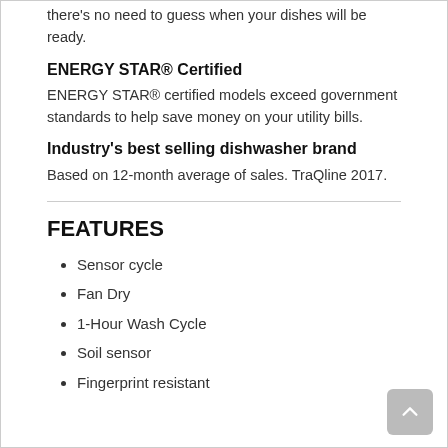there's no need to guess when your dishes will be ready.
ENERGY STAR® Certified
ENERGY STAR® certified models exceed government standards to help save money on your utility bills.
Industry's best selling dishwasher brand
Based on 12-month average of sales. TraQline 2017.
FEATURES
Sensor cycle
Fan Dry
1-Hour Wash Cycle
Soil sensor
Fingerprint resistant